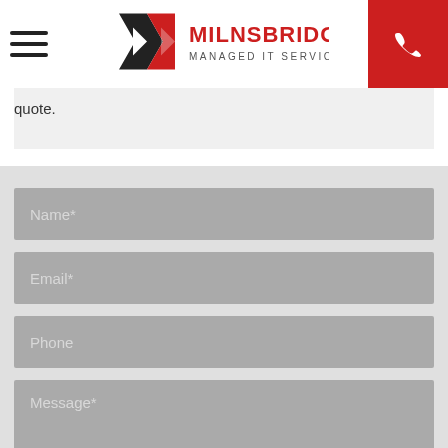[Figure (logo): Milnsbridge Managed IT Services logo with hamburger menu and phone button]
quote.
[Figure (screenshot): Contact form with Name*, Email*, Phone, and Message* fields on grey background]